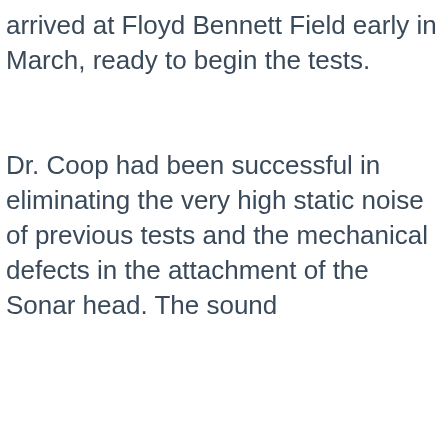arrived at Floyd Bennett Field early in March, ready to begin the tests.
Dr. Coop had been successful in eliminating the very high static noise of previous tests and the mechanical defects in the attachment of the Sonar head. The sound